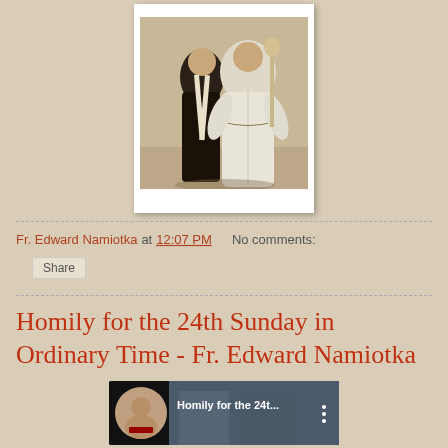[Figure (photo): A photograph mounted like a print showing two robed religious figures, displayed in a white photo-frame style border on a tan/beige background]
Fr. Edward Namiotka at 12:07 PM   No comments:
Share
Homily for the 24th Sunday in Ordinary Time - Fr. Edward Namiotka
[Figure (screenshot): YouTube video thumbnail showing 'Homily for the 24t...' with a circular profile photo of a man in clergy vestments on the left side and a three-dot menu icon on the right]